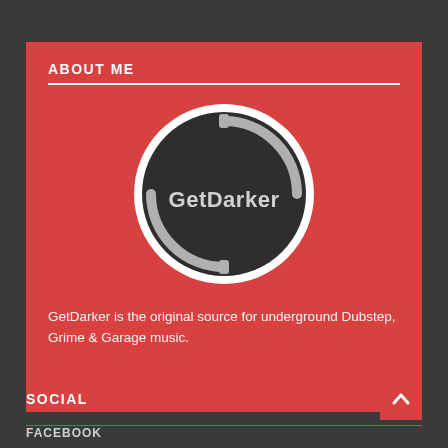ABOUT ME
[Figure (logo): GetDarker circular logo — dark circle with white ring and GetDarker text in center]
GetDarker is the original source for underground Dubstep, Grime & Garage music.
SOCIAL
FACEBOOK